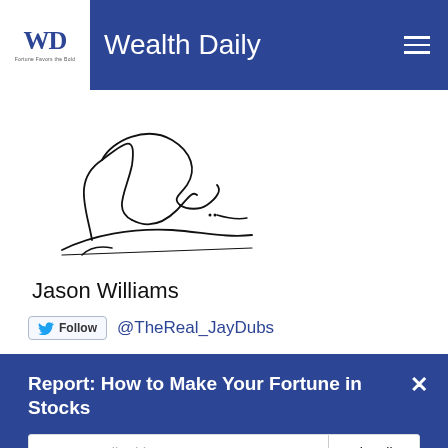Wealth Daily
[Figure (illustration): Handwritten cursive signature of Jason Williams]
Jason Williams
Follow @TheReal_JayDubs
Report: How to Make Your Fortune in Stocks
Enter E-mail Address
Subscribe
Sign up to receive your free report. After signing up, you'll begin receiving the Wealth Daily e-letter daily.